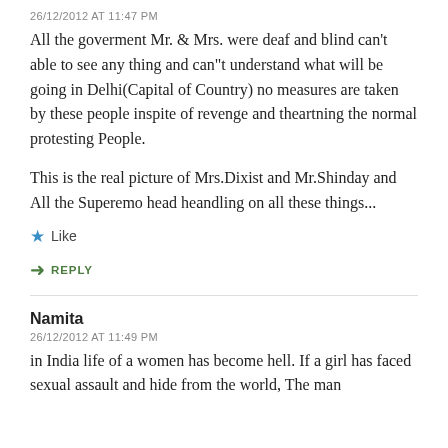26/12/2012 AT 11:47 PM
All the goverment Mr. & Mrs. were deaf and blind can't able to see any thing and can"t understand what will be going in Delhi(Capital of Country) no measures are taken by these people inspite of revenge and theartning the normal protesting People.
This is the real picture of Mrs.Dixist and Mr.Shinday and All the Superemo head heandling on all these things...
★ Like
➜ REPLY
Namita
26/12/2012 AT 11:49 PM
in India life of a women has become hell. If a girl has faced sexual assault and hide from the world, The man